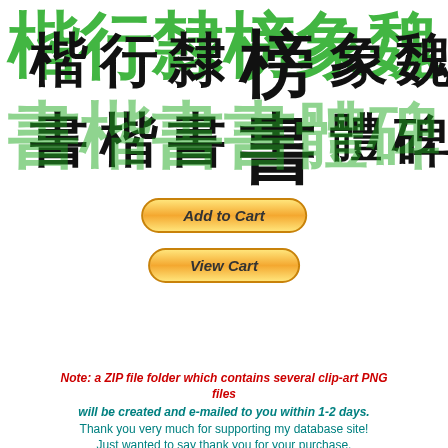[Figure (illustration): Chinese calligraphy characters in black and green, showing various script styles (regular, running, clerical, seal, Wei, stele scripts) arranged in two rows]
[Figure (other): Add to Cart button with golden gradient oval shape and italic bold text]
[Figure (other): View Cart button with golden gradient oval shape and italic bold text]
[Figure (other): PayPal secure payments box with lock icon, PayPal logo, Visa, MasterCard, American Express logos, and NO PAYPAL ACCOUNT NEEDED text]
Note: a ZIP file folder which contains several clip-art PNG files
will be created and e-mailed to you within 1-2 days.
Thank you very much for supporting my database site!
Just wanted to say thank you for your purchase.
I am so lucky to have such a valued visitor like you!